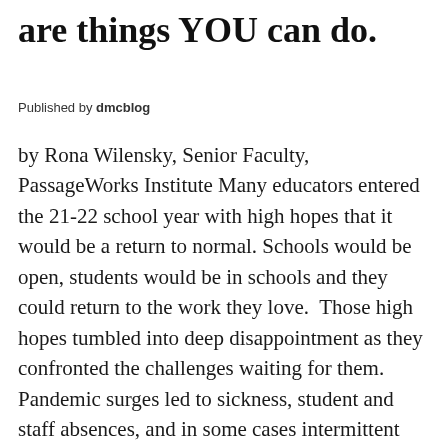are things YOU can do.
Published by dmcblog
by Rona Wilensky, Senior Faculty, PassageWorks Institute Many educators entered the 21-22 school year with high hopes that it would be a return to normal. Schools would be open, students would be in schools and they could return to the work they love.  Those high hopes tumbled into deep disappointment as they confronted the challenges waiting for them.   Pandemic surges led to sickness, student and staff absences, and in some cases intermittent returns to remote learning. The damage done in 20-21 became all too apparent: learning losses, extraordinary behavior, mental health challenges, and bitter community fights over masking and vaccines.  As if this weren't enough, many communities were roiled by ugly fights over what is appropriate to teach related to our complex and